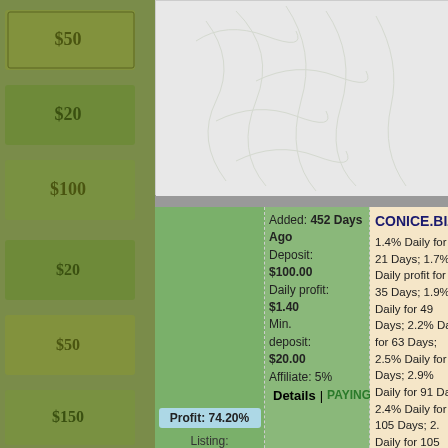[Figure (photo): Background of US dollar bills scattered]
[Figure (illustration): White/light grey leaf pattern background in top center area]
Added: 452 Days Ago
Deposit: $100.00
Daily profit: $1.40
Min. deposit: $20.00
Affiliate: 5%
Profit: 74.20%
Listing: Exclusive
CONICE.BIZ
1.4% Daily for 21 Days; 1.7% Daily profit for 35 Days; 1.9% Daily for 49 Days; 2.2% Daily for 63 Days; 2.5% Daily for Days; 2.9% Daily for 91 Days; 2.4% Daily for 105 Days; 2.% Daily for 105 Days;
Details | PAYING
Added: 46 Days Ago
Deposit: $50.00
Daily profit: $1.00
Min. deposit: $20.00
Affiliate: 5%
Profit: 16.04%
Listing: Exclusive
CRYPTOEVOLUTION.B
102%-120% after 1 day;
110%-180% after 4 days;
125%-300% after 8 days;
170%-500% after 16 days;
310%-750% after 32 days;
500%-1300% after 50 days
Details | PAYING
Added: 104 Days Ago
CRYPTOMINES.BIZ